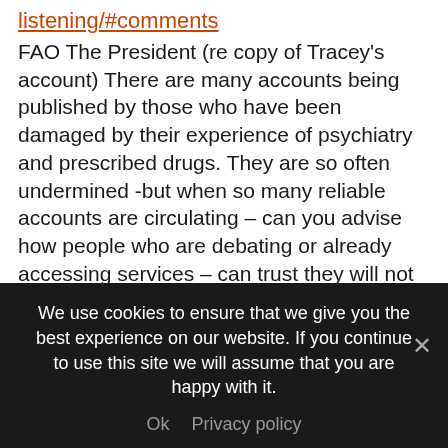listening/#comments
FAO The President (re copy of Tracey's account) There are many accounts being published by those who have been damaged by their experience of psychiatry and prescribed drugs. They are so often undermined -but when so many reliable accounts are circulating – can you advise how people who are debating or already accessing services – can trust they will not experience the same damage which as you know has serious very consequences . Thank you I would appreciate a response which I could circulate to clarify how the college aims to
We use cookies to ensure that we give you the best experience on our website. If you continue to use this site we will assume that you are happy with it.
Ok   Privacy policy